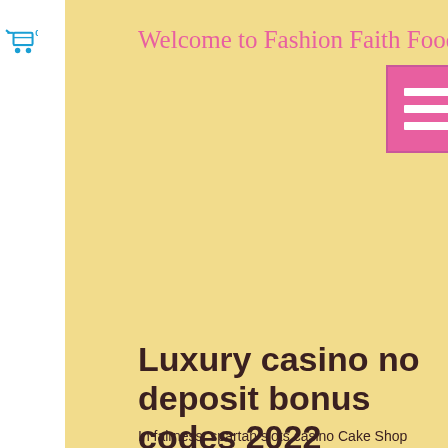[Figure (screenshot): Shopping cart icon with count badge showing 0, in blue/cyan color]
Welcome to Fashion Faith Food
[Figure (infographic): Pink hamburger/menu button icon with three white horizontal lines on pink background]
Luxury casino no deposit bonus codes 2022
In fairness, spartan slots casino Cake Shop